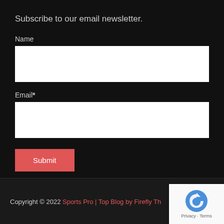Subscribe to our email newsletter.
Name
Email*
Submit
Copyright © 2022 Sports Pro | Top Blog by Firefly Th